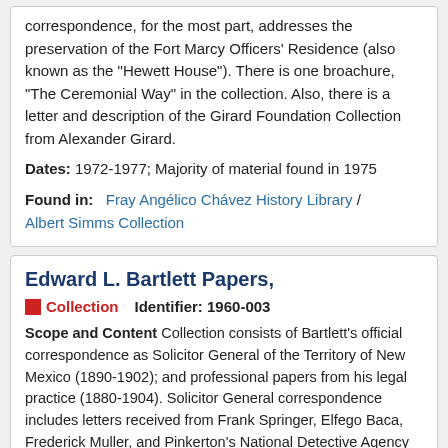correspondence, for the most part, addresses the preservation of the Fort Marcy Officers' Residence (also known as the "Hewett House"). There is one broachure, "The Ceremonial Way" in the collection. Also, there is a letter and description of the Girard Foundation Collection from Alexander Girard.
Dates: 1972-1977; Majority of material found in 1975
Found in:   Fray Angélico Chávez History Library / Albert Simms Collection
Edward L. Bartlett Papers,
Collection   Identifier: 1960-003
Scope and Content Collection consists of Bartlett's official correspondence as Solicitor General of the Territory of New Mexico (1890-1902); and professional papers from his legal practice (1880-1904). Solicitor General correspondence includes letters received from Frank Springer, Elfego Baca, Frederick Muller, and Pinkerton's National Detective Agency concerning Charles Siringo. Topics covered in the correspondence include the Rough Rider...